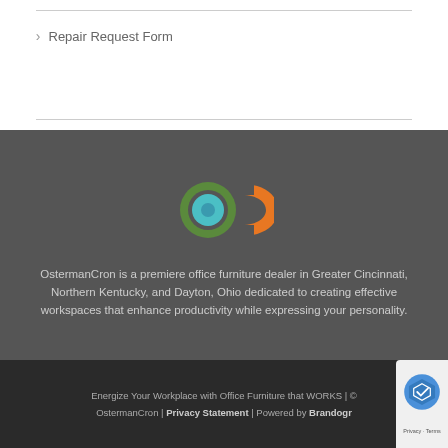Repair Request Form
[Figure (logo): OstermanCron logo: green circle with teal inner circle, and orange letter C]
OstermanCron is a premiere office furniture dealer in Greater Cincinnati, Northern Kentucky, and Dayton, Ohio dedicated to creating effective workspaces that enhance productivity while expressing your personality.
Energize Your Workplace with Office Furniture that WORKS | © OstermanCron | Privacy Statement | Powered by Brandogr...